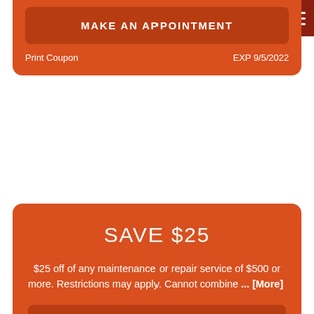[Figure (other): Navigation hamburger menu icon, dark red background, top-right corner]
MAKE AN APPOINTMENT
Print Coupon    EXP 9/5/2022
SAVE $25
$25 off of any maintenance or repair service of $500 or more. Restrictions may apply. Cannot combine ... [More]
MAKE AN APPOINTMENT
Print Coupon    EXP 9/5/2022